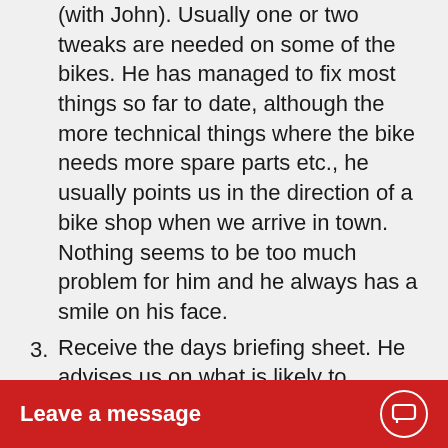(with John).  Usually one or two tweaks are needed on some of the bikes. He has managed to fix most things so far to date, although the more technical things where the bike needs more spare parts etc., he usually points us in the direction of a bike shop when we arrive in town.  Nothing seems to be too much problem for him and he always has a smile on his face.
3. Receive the days briefing sheet.  He advises us on what is likely to happen and what we are going to come across and watch out for.
4. We set off … John drive…